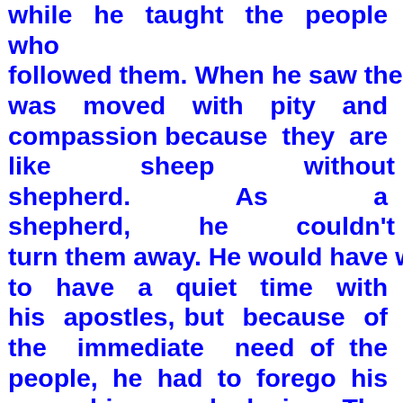while he taught the people who followed them. When he saw them, he was moved with pity and compassion because they are like sheep without shepherd. As a shepherd, he couldn't turn them away. He would have wanted to have a quiet time with his apostles, but because of the immediate need of the people, he had to forego his own whims and desire. The feeling of pity